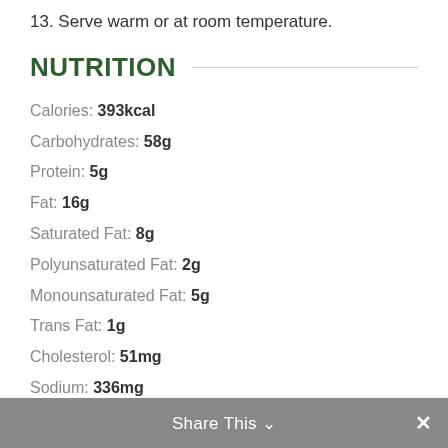13. Serve warm or at room temperature.
NUTRITION
Calories: 393kcal
Carbohydrates: 58g
Protein: 5g
Fat: 16g
Saturated Fat: 8g
Polyunsaturated Fat: 2g
Monounsaturated Fat: 5g
Trans Fat: 1g
Cholesterol: 51mg
Sodium: 336mg
Potassium: 164mg
Fiber: 3g
Sugar: 34g
Share This ∨  ✕